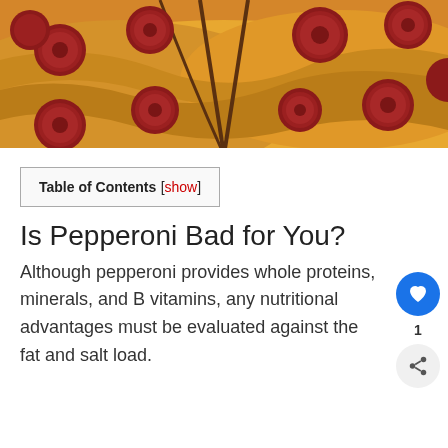[Figure (photo): Close-up photo of pepperoni pizza slices with melted cheese and multiple pepperoni pieces]
Table of Contents [show]
Is Pepperoni Bad for You?
Although pepperoni provides whole proteins, minerals, and B vitamins, any nutritional advantages must be evaluated against the fat and salt load.